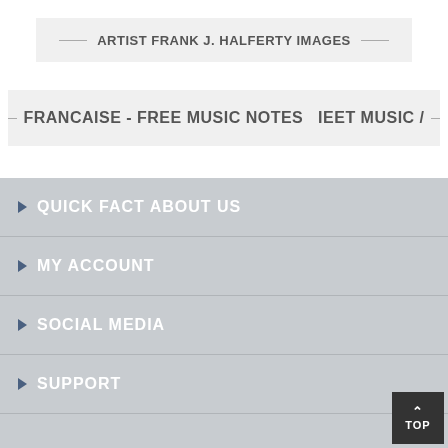ARTIST FRANK J. HALFERTY IMAGES
FRANCAISE - FREE MUSIC NOTES  IEET MUSIC /
QUICK FACT ABOUT US
MY ACCOUNT
SOCIAL MEDIA
SUPPORT
TOP